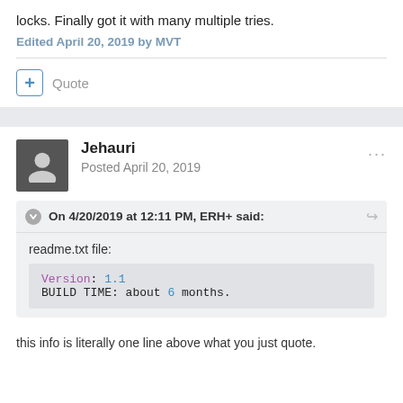locks. Finally got it with many multiple tries.
Edited April 20, 2019 by MVT
+ Quote
Jehauri
Posted April 20, 2019
On 4/20/2019 at 12:11 PM, ERH+ said:
readme.txt file:
Version: 1.1
BUILD TIME: about 6 months.
this info is literally one line above what you just quote.